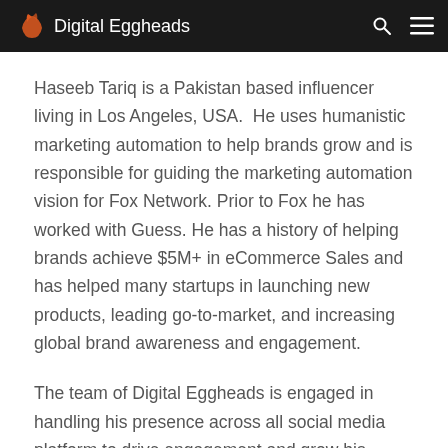Digital Eggheads
Haseeb Tariq is a Pakistan based influencer living in Los Angeles, USA. He uses humanistic marketing automation to help brands grow and is responsible for guiding the marketing automation vision for Fox Network. Prior to Fox he has worked with Guess. He has a history of helping brands achieve $5M+ in eCommerce Sales and has helped many startups in launching new products, leading go-to-market, and increasing global brand awareness and engagement.
The team of Digital Eggheads is engaged in handling his presence across all social media platform to drive engagement and grow his